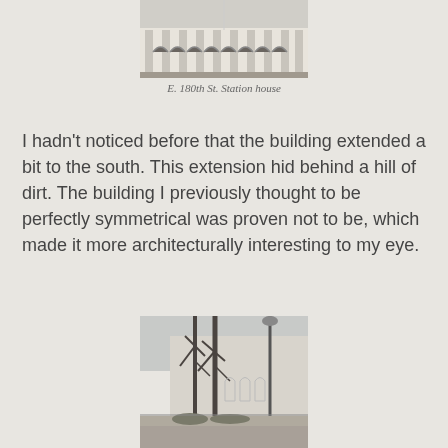[Figure (photo): Front facade of E. 180th St. Station house showing arched colonnade with multiple arched openings and a flagpole]
E. 180th St. Station house
I hadn't noticed before that the building extended a bit to the south. This extension hid behind a hill of dirt. The building I previously thought to be perfectly symmetrical was proven not to be, which made it more architecturally interesting to my eye.
[Figure (photo): Side view of the station building showing bare winter trees, a lamppost, and the side wall with decorative arched panels]